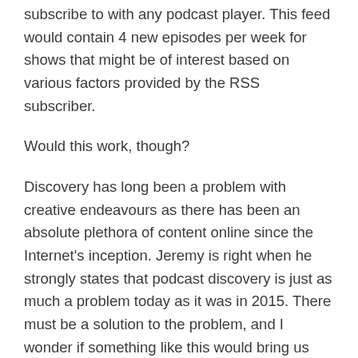subscribe to with any podcast player. This feed would contain 4 new episodes per week for shows that might be of interest based on various factors provided by the RSS subscriber.
Would this work, though?
Discovery has long been a problem with creative endeavours as there has been an absolute plethora of content online since the Internet's inception. Jeremy is right when he strongly states that podcast discovery is just as much a problem today as it was in 2015. There must be a solution to the problem, and I wonder if something like this would bring us one step closer to an ideal solution.